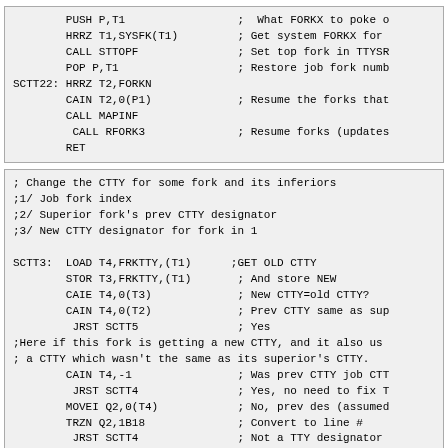PUSH P,T1
        HRRZ T1,SYSFK(T1)
        CALL STTOPF
        POP P,T1
SCTT22: HRRZ T2,FORKN
        CAIN T2,0(P1)
        CALL MAPINF
         CALL RFORK3
        RET
; Change the CTTY for some fork and its inferiors
;1/ Job fork index
;2/ Superior fork's prev CTTY designator
;3/ New CTTY designator for fork in 1

SCTT3:  LOAD T4,FRKTTY,(T1)      ;GET OLD CTTY
        STOR T3,FRKTTY,(T1)      ; And store NEW
        CAIE T4,0(T3)            ; New CTTY=old CTTY?
        CAIN T4,0(T2)            ; Prev CTTY same as sup
         JRST SCTT5              ; Yes
;Here if this fork is getting a new CTTY, and it also us
; a CTTY which wasn't the same as its superior's CTTY.
        CAIN T4,-1               ; Was prev CTTY job CTT
         JRST SCTT4              ; Yes, no need to fix T
        MOVEI Q2,0(T4)           ; No, prev des (assumed
        TRZN Q2,1B18             ; Convert to line #
         JRST SCTT4              ; Not a TTY designator
        CAIGE Q2,NLINES          ; Is it valid?
        CAIGE Q2,0